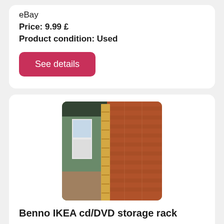eBay
Price: 9.99 £
Product condition: Used
See details
[Figure (photo): A tall narrow pine wooden CD/DVD storage rack leaning against a red brick wall outdoors on a paved patio area, with a window and door visible in the background.]
Benno IKEA cd/DVD storage rack
Benno ikea cd/dvd storage rack . Solid pine wooden cd rack cd can deliver cards accepted cash on collection from reading